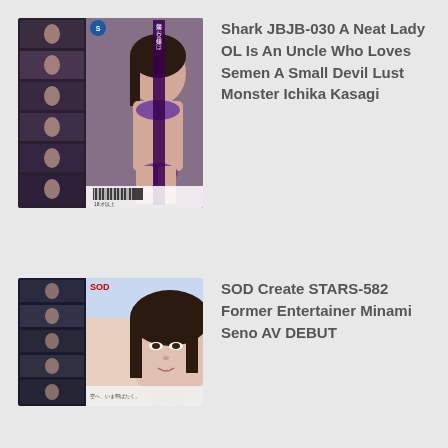[Figure (photo): DVD cover for Shark JBJB-030 showing a Japanese woman in purple lingerie with collage of scenes on the left side and Japanese text on the cover]
Shark JBJB-030 A Neat Lady OL Is An Uncle Who Loves Semen A Small Devil Lust Monster Ichika Kasagi
[Figure (photo): DVD cover for SOD Create STARS-582 showing a close-up of a Japanese woman's face with scenes on the left]
SOD Create STARS-582 Former Entertainer Minami Seno AV DEBUT